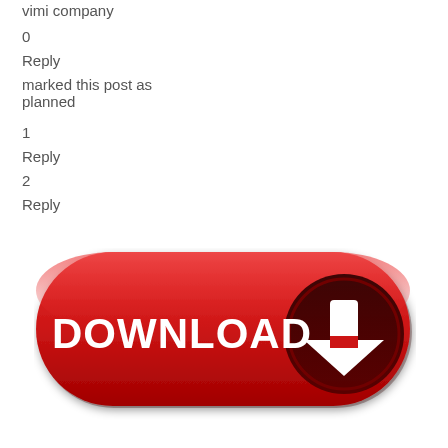vimi company
0
Reply
marked this post as planned
1
Reply
2
Reply
[Figure (illustration): Red rounded rectangle download button with white DOWNLOAD text and a dark circular arrow icon on the right side pointing downward]